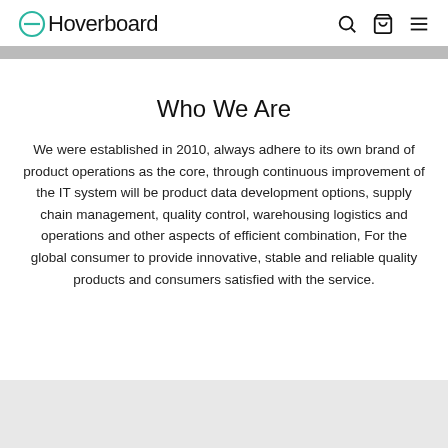iHoverboard
Who We Are
We were established in 2010, always adhere to its own brand of product operations as the core, through continuous improvement of the IT system will be product data development options, supply chain management, quality control, warehousing logistics and operations and other aspects of efficient combination, For the global consumer to provide innovative, stable and reliable quality products and consumers satisfied with the service.